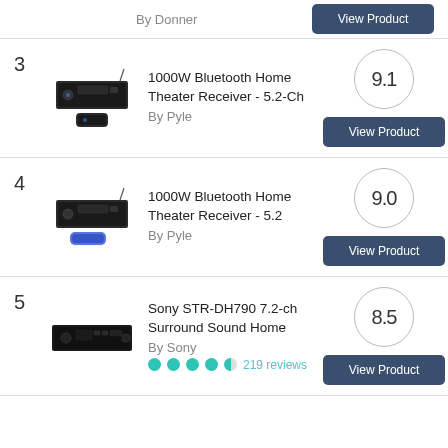By Donner
3
[Figure (photo): 1000W Bluetooth Home Theater Receiver 5.2-Ch by Pyle product image with remote]
1000W Bluetooth Home Theater Receiver - 5.2-Ch
By Pyle
9.1
View Product
4
[Figure (photo): 1000W Bluetooth Home Theater Receiver 5.2 by Pyle product image with remote]
1000W Bluetooth Home Theater Receiver - 5.2
By Pyle
9.0
View Product
5
[Figure (photo): Sony STR-DH790 7.2-ch Surround Sound Home Theater Receiver product image]
Sony STR-DH790 7.2-ch Surround Sound Home
By Sony
219 reviews
8.5
View Product